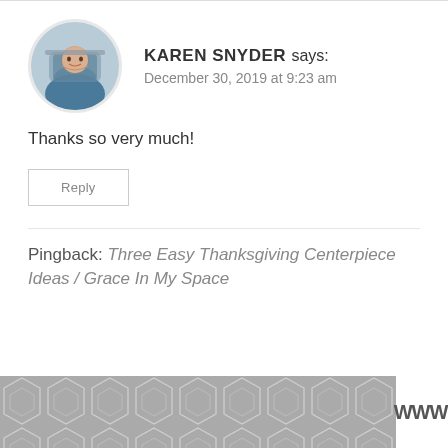KAREN SNYDER says:
December 30, 2019 at 9:23 am
Thanks so very much!
Reply
Pingback: Three Easy Thanksgiving Centerpiece Ideas / Grace In My Space
[Figure (illustration): Geometric hexagon/cube tile pattern in grey, with a small Wix-like logo mark in the bottom right corner]